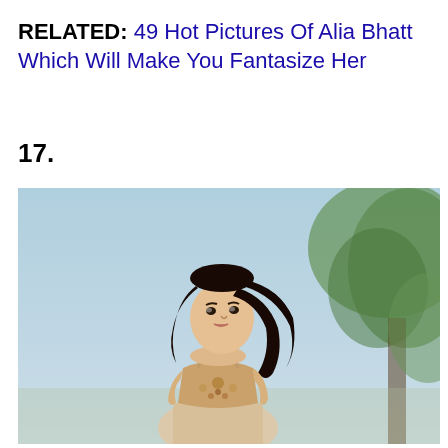RELATED: 49 Hot Pictures Of Alia Bhatt Which Will Make You Fantasize Her
17.
[Figure (photo): A young woman with long dark wavy hair, wearing a beaded/embroidered crop top, posed outdoors against a light blue sky with blurred green trees in the background.]